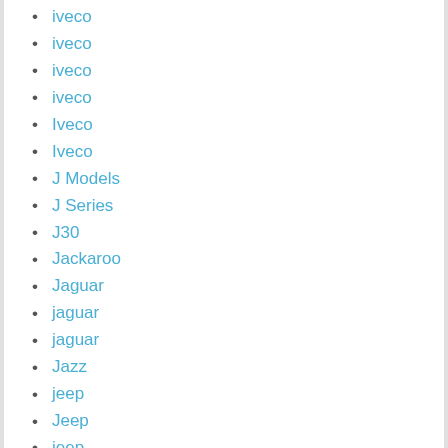iveco
iveco
iveco
iveco
Iveco
Iveco
J Models
J Series
J30
Jackaroo
Jaguar
jaguar
jaguar
Jazz
jeep
Jeep
jeep
jet-industries
jet-industries
Jetta
Jimmy
Jimny / Samurai / Sierra